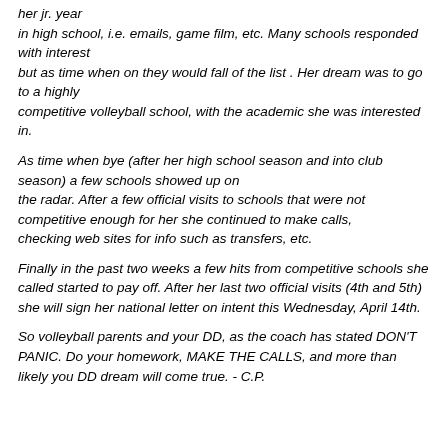her jr. year in high school, i.e. emails, game film, etc. Many schools responded with interest but as time when on they would fall of the list . Her dream was to go to a highly competitive volleyball school, with the academic she was interested in.
As time when bye (after her high school season and into club season) a few schools showed up on the radar. After a few official visits to schools that were not competitive enough for her she continued to make calls, checking web sites for info such as transfers, etc.
Finally in the past two weeks a few hits from competitive schools she called started to pay off. After her last two official visits (4th and 5th) she will sign her national letter on intent this Wednesday, April 14th.
So volleyball parents and your DD, as the coach has stated DON'T PANIC. Do your homework, MAKE THE CALLS, and more than likely you DD dream will come true. - C.P.